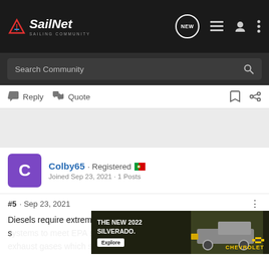SailNet - Sailing Community
Search Community
Reply  Quote
[Figure (other): Blank advertisement area / gray placeholder]
Colby65 · Registered
Joined Sep 23, 2021 · 1 Posts
#5 · Sep 23, 2021
Diesels require extremely complex and expensive emissions control s...ngines, they rec... ems to
[Figure (photo): Advertisement for The New 2022 Silverado by Chevrolet showing a truck on a dirt road with Explore button]